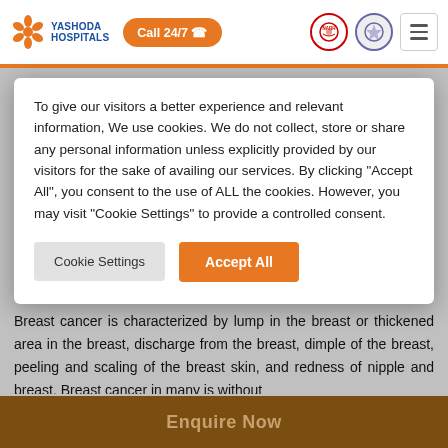[Figure (screenshot): Yashoda Hospitals navigation bar with orange flower logo, 'Call 24/7' button, quality badges, and hamburger menu]
To give our visitors a better experience and relevant information, We use cookies. We do not collect, store or share any personal information unless explicitly provided by our visitors for the sake of availing our services. By clicking “Accept All”, you consent to the use of ALL the cookies. However, you may visit "Cookie Settings" to provide a controlled consent.
Cookie Settings   Accept All
Breast cancer is characterized by lump in the breast or thickened area in the breast, discharge from the breast, dimple of the breast, peeling and scaling of the breast skin, and redness of nipple and breast. Breast cancer in many is without
Enquire Now